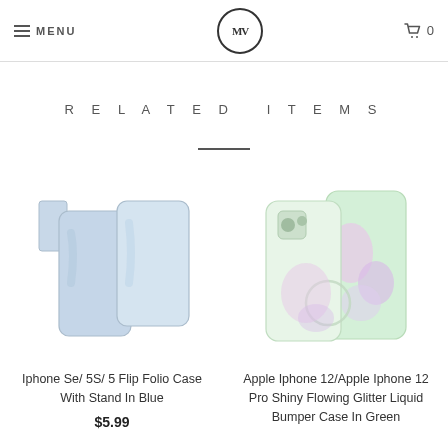MENU | MV logo | 0
RELATED ITEMS
[Figure (photo): Iphone Se/5S/5 flip folio case with stand in blue - two blue phone cases shown]
Iphone Se/ 5S/ 5 Flip Folio Case With Stand In Blue
$5.99
[Figure (photo): Apple iPhone 12/Apple iPhone 12 Pro Shiny Flowing Glitter Liquid Bumper Case in Green - glittery green phone cases shown]
Apple Iphone 12/Apple Iphone 12 Pro Shiny Flowing Glitter Liquid Bumper Case In Green